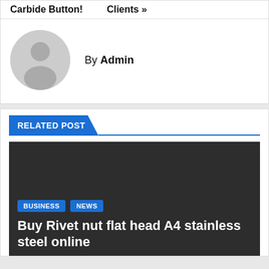Carbide Button!   Clients »
By Admin
[Figure (illustration): Gray circular avatar placeholder with silhouette of a person]
RELATED POST
[Figure (photo): Dark gray background image for related post card with BUSINESS and NEWS tags and title text]
BUSINESS
NEWS
Buy Rivet nut flat head A4 stainless steel online